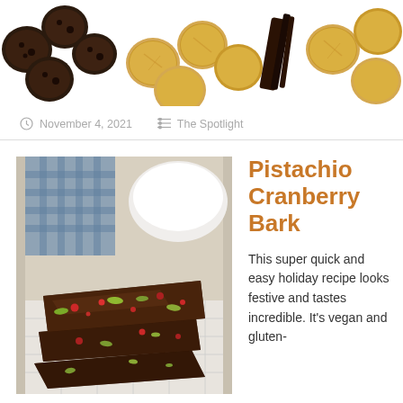[Figure (photo): Top banner photo showing an assortment of chocolate and golden/peanut butter cookies arranged on a white background, along with dark chocolate pieces]
November 4, 2021   The Spotlight
[Figure (photo): Stack of Pistachio Cranberry Bark pieces showing dark chocolate with green pistachios and red cranberries, plated on a white tile surface with blue cloth and white bowl in background]
Pistachio Cranberry Bark
This super quick and easy holiday recipe looks festive and tastes incredible. It's vegan and gluten-